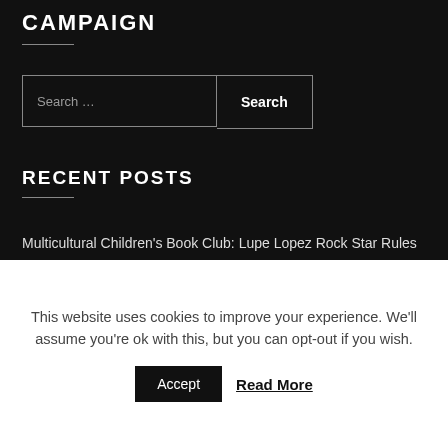CAMPAIGN
RECENT POSTS
Multicultural Children's Book Club: Lupe Lopez Rock Star Rules
My Favorite Barefoot Books & GIVEAWAY!
Children's Books that Build Bridges Instead of Walls & 3 Book
This website uses cookies to improve your experience. We'll assume you're ok with this, but you can opt-out if you wish.
Accept
Read More